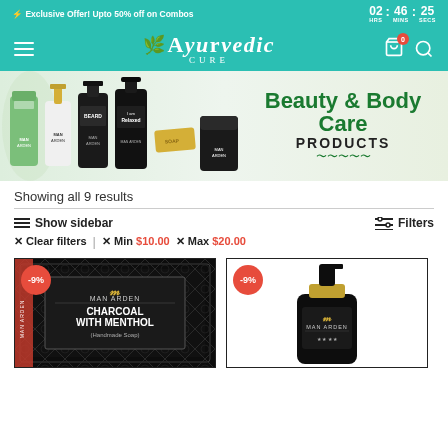⚡ Exclusive Offer! Upto 50% off on Combos   02 : 46 : 25 HRS MINS SECS
[Figure (logo): Ayurvedic Cure logo with leaf icon, teal navigation bar with hamburger menu, cart icon with badge '0', and search icon]
[Figure (infographic): Beauty & Body Care Products banner with Man Arden grooming product bottles on left and bold green text on right]
Showing all 9 results
Show sidebar
Filters
× Clear filters  |  × Min $10.00  × Max $20.00
[Figure (photo): Man Arden Charcoal With Menthol Handmade Soap product box with -9% badge]
[Figure (photo): Man Arden body lotion/wash bottle in black with gold cap and -9% badge]